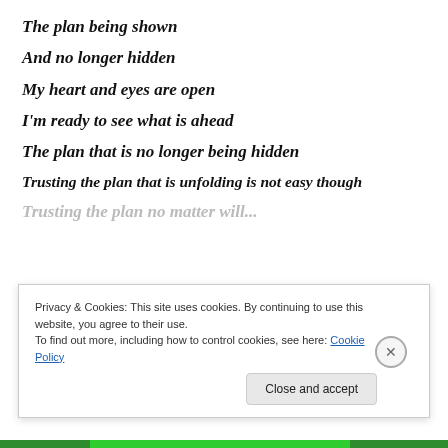The plan being shown
And no longer hidden
My heart and eyes are open
I'm ready to see what is ahead
The plan that is no longer being hidden
Trusting the plan that is unfolding is not easy though
[truncated line]
Privacy & Cookies: This site uses cookies. By continuing to use this website, you agree to their use. To find out more, including how to control cookies, see here: Cookie Policy
Close and accept